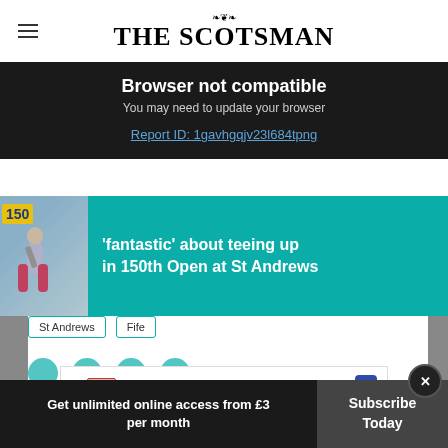THE SCOTSMAN
Browser not compatible
You may need to update your browser
Report ID: 1gavhgqjv23l684tpng
'fantastic' about teeing up in 150th Open at St Andrews
St Andrews
Fife
Dine-in   Curbside pickup
Get unlimited online access from £3 per month
Subscribe Today